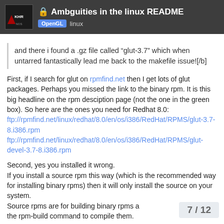🔒 Ambguities in the linux README
OpenGL  linux
and there i found a .gz file called "glut-3.7" which when untarred fantastically lead me back to the makefile issue![/b]
First, if I search for glut on rpmfind.net then I get lots of glut packages. Perhaps you missed the link to the binary rpm. It is this big headline on the rpm desciption page (not the one in the green box). So here are the ones you need for Redhat 8.0:
ftp://rpmfind.net/linux/redhat/8.0/en/os/i386/RedHat/RPMS/glut-3.7-8.i386.rpm
ftp://rpmfind.net/linux/redhat/8.0/en/os/i386/RedHat/RPMS/glut-devel-3.7-8.i386.rpm
Second, yes you installed it wrong.
If you install a source rpm this way (which is the recommended way for installing binary rpms) then it will only install the source on your system.
Source rpms are for building binary rpms and you need to use the rpm-build command to compile them.
7 / 12